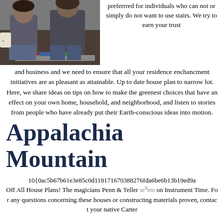[Figure (photo): Two people sitting on a couch with magazines/books on a glass coffee table in front of them.]
preferrred for individuals who can not or simply do not want to use stairs. We try to earn your trust and business and we need to ensure that all your residence enchancment initiatives are as pleasant as attainable. Up to date house plan to narrow lot. Here, we share ideas on tips on how to make the greenest choices that have an effect on your own home, household, and neighborhood, and listen to stories from people who have already put their Earth-conscious ideas into motion.
Appalachia Mountain
10{0ac5b67b61e3e85c0d118171670388276fda6be6b13b19ed9a Off All House Plans! The magicians Penn & Teller seem on Instrument Time. For any questions concerning these houses or constructing materials proven, contact your native Carter